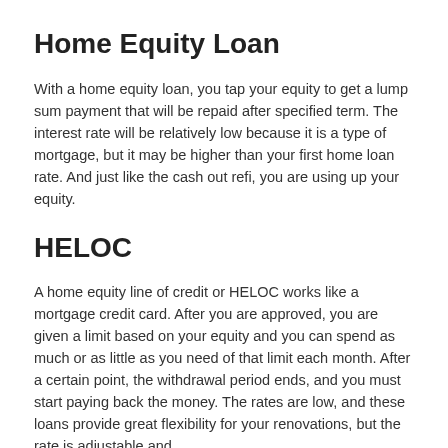Home Equity Loan
With a home equity loan, you tap your equity to get a lump sum payment that will be repaid after specified term. The interest rate will be relatively low because it is a type of mortgage, but it may be higher than your first home loan rate.  And just like the cash out refi, you are using up your equity.
HELOC
A home equity line of credit or HELOC works like a mortgage credit card. After you are approved, you are given a limit based on your equity and you can spend as much or as little as you need of that limit each month. After a certain point, the withdrawal period ends, and you must start paying back the money. The rates are low, and these loans provide great flexibility for your renovations, but the rate is adjustable and